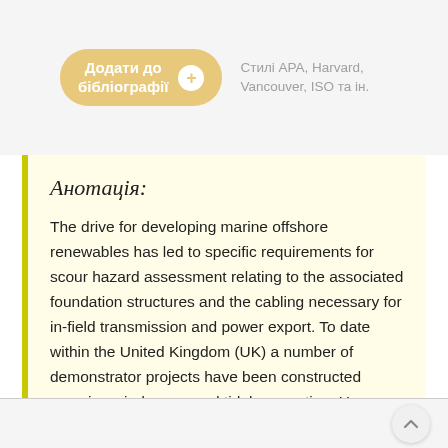[Figure (screenshot): UI button: 'Додати до бібліографії' with a plus icon, and text 'Стилі APA, Harvard, Vancouver, ISO та ін.' next to it]
Анотація:
The drive for developing marine offshore renewables has led to specific requirements for scour hazard assessment relating to the associated foundation structures and the cabling necessary for in-field transmission and power export. To date within the United Kingdom (UK) a number of demonstrator projects have been constructed covering wind, wave and tidal generation. However, only offshore wind has been developed at large-scale at present as part of two rounds of